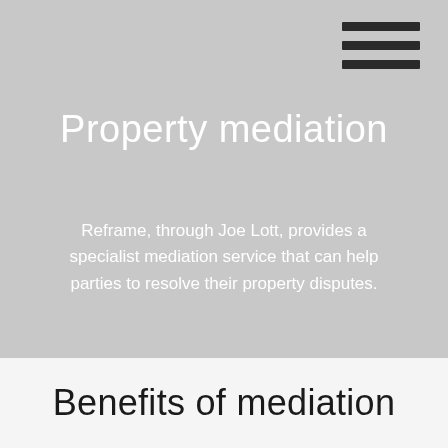[Figure (illustration): Hamburger menu icon with three horizontal dark bars in the top-right corner of a light grey hero background area.]
Property mediation
Reframe, through Joe Lott, provides a specialist mediation service that can help parties to resolve their property disputes.
Benefits of mediation